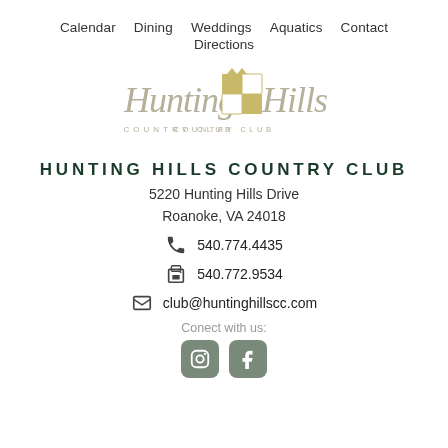Calendar  Dining  Weddings  Aquatics  Contact  Directions
[Figure (logo): Hunting Hills Country Club logo with stylized script text and crest emblem in gold/olive tones]
HUNTING HILLS COUNTRY CLUB
5220 Hunting Hills Drive
Roanoke, VA 24018
540.774.4435
540.772.9534
club@huntinghillscc.com
Conect with us: